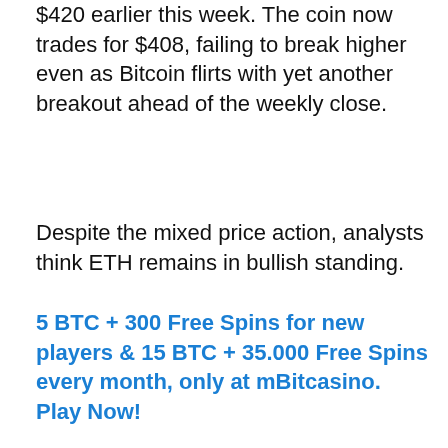$420 earlier this week. The coin now trades for $408, failing to break higher even as Bitcoin flirts with yet another breakout ahead of the weekly close.
Despite the mixed price action, analysts think ETH remains in bullish standing.
5 BTC + 300 Free Spins for new players & 15 BTC + 35.000 Free Spins every month, only at mBitcasino. Play Now!
[Figure (screenshot): Cross Staking banner advertisement with dark blue background showing a cross staking logo on the left and text 'NEW CRYPTO TECHNOLOGY: CROSS STAKING' on the right]
[Figure (screenshot): Tamadoge advertisement with light blue sky background, Tamadoge coin logo and pixel dog image, text 'Next Meme Coin to 100x in Value' with a READ MORE button]